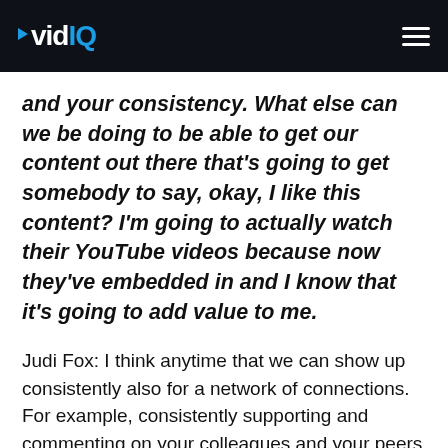vidIQ
and your consistency. What else can we be doing to be able to get our content out there that's going to get somebody to say, okay, I like this content? I'm going to actually watch their YouTube videos because now they've embedded in and I know that it's going to add value to me.
Judi Fox: I think anytime that we can show up consistently also for a network of connections. For example, consistently supporting and commenting on your colleagues and your peers